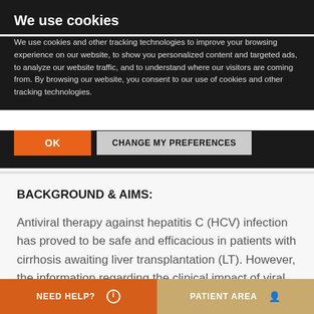We use cookies
We use cookies and other tracking technologies to improve your browsing experience on our website, to show you personalized content and targeted ads, to analyze our website traffic, and to understand where our visitors are coming from. By browsing our website, you consent to our use of cookies and other tracking technologies.
BACKGROUND & AIMS:
Antiviral therapy against hepatitis C (HCV) infection has proved to be safe and efficacious in patients with cirrhosis awaiting liver transplantation (LT). However, the information regarding the clinical impact of viral eradication on the waiting list is still limited.
NEED HELP? ℹ    PATIENT AREA 👤